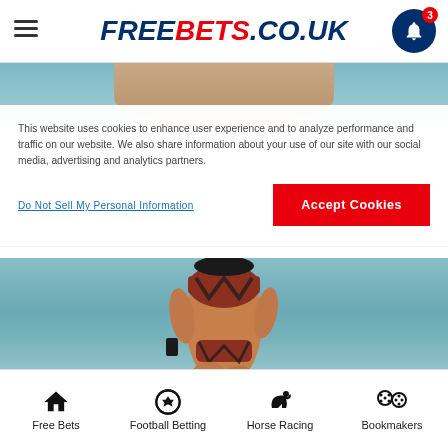FREEBETS.CO.UK
[Figure (photo): Partial photo of person visible at top of page behind cookie overlay]
This website uses cookies to enhance user experience and to analyze performance and traffic on our website. We also share information about your use of our site with our social media, advertising and analytics partners.
Do Not Sell My Personal Information
Accept Cookies
[Figure (photo): Photo of a woman in a patterned bikini running on a beach with ocean waves in the background]
Free Bets  Football Betting  Horse Racing  Bookmakers